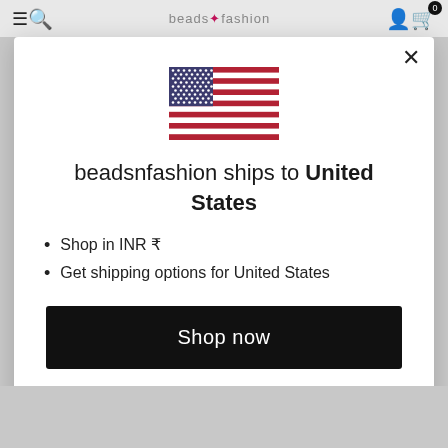[Figure (screenshot): Website modal popup from beadsnfashion showing a US flag, shipping information for United States, a 'Shop now' button, and a 'Change shipping country' link]
beadsnfashion ships to United States
Shop in INR ₹
Get shipping options for United States
Shop now
Change shipping country